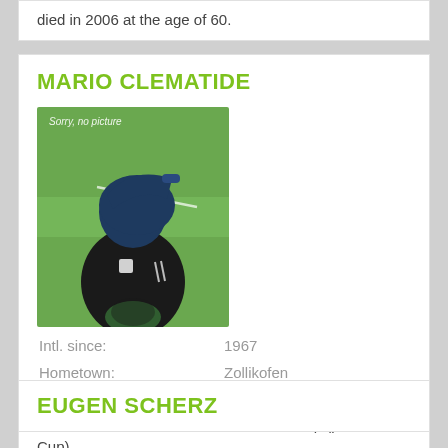died in 2006 at the age of 60.
MARIO CLEMATIDE
[Figure (photo): Placeholder image of a football referee holding a ball on a green pitch, with a whistle icon overlaid on the face. Text 'Sorry, no picture' shown.]
Intl. since:   1967
Hometown:   Zollikofen
International referee from 1968 (or a little earlier) until 1972. Active in friendlies and the Fairs Cup (pre-UEFA Cup).
EUGEN SCHERZ